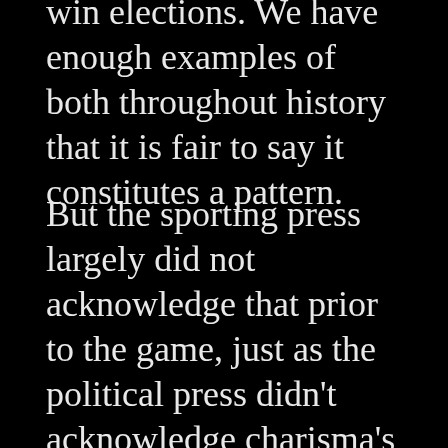win elections. We have enough examples of both throughout history that it is fair to say it constitutes a pattern.
But the sporting press largely did not acknowledge that prior to the game, just as the political press didn't acknowledge charisma's strong track record prior to the election.
In each case, it took a specific event (a missed field goal/the Comey letter) before the press were able to recognize